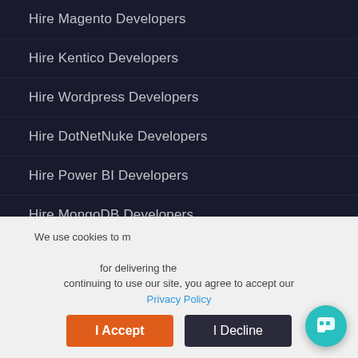Hire Magento Developers
Hire Kentico Developers
Hire Wordpress Developers
Hire DotNetNuke Developers
Hire Power BI Developers
Hire MongoDB Developers
Hire Mobile App Developer
Hire eCommerce Developer
Hire Azure Developers
[Figure (screenshot): Chat popup with avatar of Jenny saying 'Hi! This is Jenny and I'm here to help you.' with a close button]
We use cookies to make sure you have the best experience on our website for delivering the best services. By continuing to use our site, you agree to accept our Privacy Policy
I Accept
I Decline